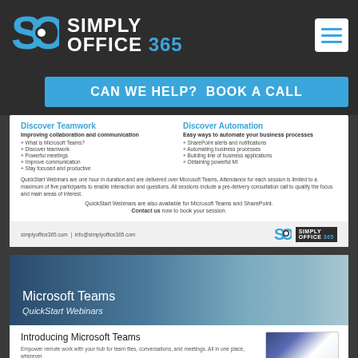[Figure (logo): Simply Office 365 logo with SO icon and text]
CAN WE HELP?  BOOK A CALL
Discover Teamwork
Improving collaboration and communication
+ What is Microsoft Teams?
+ Discover teamwork
+ Powerful meetings
+ Improve communication
+ Stay focused and productive
Discover Automation
Easy ways to automate your business processes
+ SharePoint alerts and notifications
+ Automating business processes
+ Building line of business applications
+ Obtaining powerful MI
QuickStart Webinars are one hour in duration and are delivered over Microsoft Teams. Attendance for each session is limited to a maximum of five participants to enable interaction and questions. All sessions include a pre-delivery consultation call to qualify the focus and main areas of interest.
QuickStart Webinars are also available for Microsoft Teams and SharePoint.
Contact us now to book your session.
simplyoffice365.com  |  info@simplyoffice365.com
[Figure (screenshot): Microsoft Teams QuickStart Webinars banner with person on phone in background]
Introducing Microsoft Teams
Empower remote work with your hub for team files, conversations, and meetings. All in one place, wherever